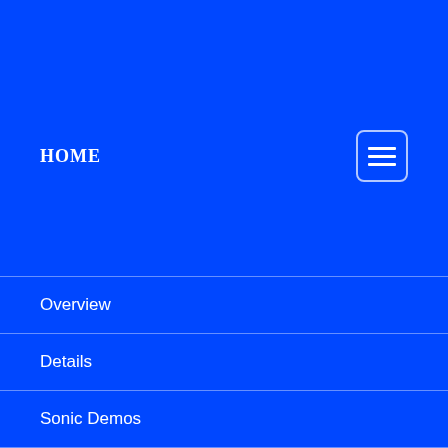HOME
Overview
Details
Sonic Demos